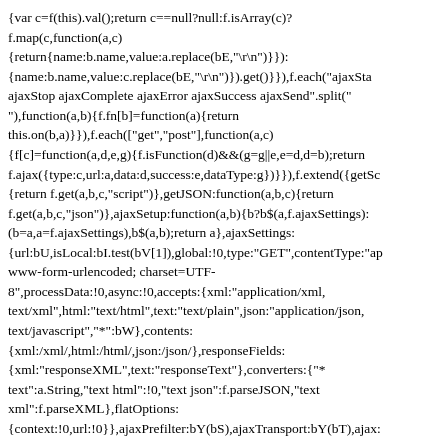{var c=f(this).val();return c==null?null:f.isArray(c)?f.map(c,function(a,c){return{name:b.name,value:a.replace(bE,"\r\n")}}):  {name:b.name,value:c.replace(bE,"\r\n")}).get()}).f.each("ajaxStart ajaxStop ajaxComplete ajaxError ajaxSuccess ajaxSend".split(" "),function(a,b){f.fn[b]=function(a){return this.on(b,a)}}),f.each(["get","post"],function(a,c){f[c]=function(a,d,e,g){f.isFunction(d)&&(g=g||e,e=d,d=b);return f.ajax({type:c,url:a,data:d,success:e,dataType:g})}}),f.extend({getSc{return f.get(a,b,c,"script")},getJSON:function(a,b,c){return f.get(a,b,c,"json")},ajaxSetup:function(a,b){b?b$(a,f.ajaxSettings):(b=a,a=f.ajaxSettings),b$(a,b);return a},ajaxSettings:{url:bU,isLocal:bI.test(bV[1]),global:!0,type:"GET",contentType:"ap www-form-urlencoded; charset=UTF-8",processData:!0,async:!0,accepts:{xml:"application/xml, text/xml",html:"text/html",text:"text/plain",json:"application/json, text/javascript","*":bW},contents:{xml:/xml/,html:/html/,json:/json/},responseFields:{xml:"responseXML",text:"responseText"},converters:{"* text":a.String,"text html":!0,"text json":f.parseJSON,"text xml":f.parseXML},flatOptions:{context:!0,url:!0}},ajaxPrefilter:bY(bS),ajaxTransport:bY(bT),ajax:{function w(a,c,l,m){if(s!==2){s=2,q&&clearTimeout(q),p=b,n=m||"",v.readyState=a>0?4:0;var o,r,u,w=c,x=l?ca(d,v,l):b,y,z;if(a>=200&&a<300||a===304)